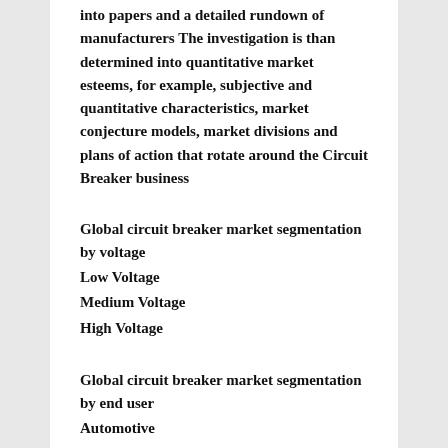into papers and a detailed rundown of manufacturers  The investigation is than determined into quantitative market esteems, for example, subjective and quantitative characteristics, market conjecture models, market divisions and plans of action that rotate around the Circuit Breaker business
Global circuit breaker market segmentation by voltage
Low Voltage
Medium Voltage
High Voltage
Global circuit breaker market segmentation by end user
Automotive